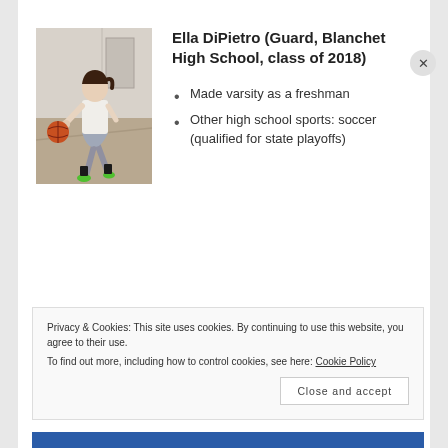[Figure (photo): A female basketball player dribbling a ball in a gym, wearing a white t-shirt, gray shorts, and green sneakers]
Ella DiPietro (Guard, Blanchet High School, class of 2018)
Made varsity as a freshman
Other high school sports: soccer (qualified for state playoffs)
Privacy & Cookies: This site uses cookies. By continuing to use this website, you agree to their use. To find out more, including how to control cookies, see here: Cookie Policy
Close and accept